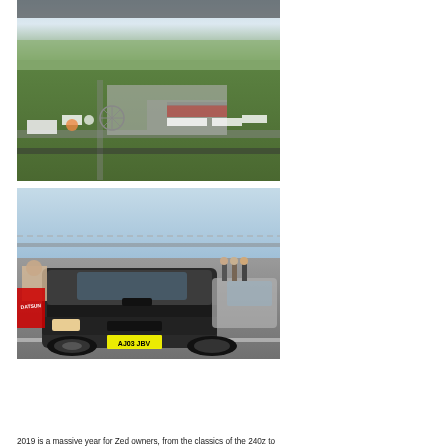[Figure (photo): Aerial photograph of a large motorsport event or car show at a race circuit, showing hundreds of cars, tents, a Ferris wheel, grandstands, and green landscape.]
[Figure (photo): Ground-level photograph at a race circuit showing a line of sports cars including a dark Nissan GT-R with UK licence plate AJ03 JBV in the foreground, people standing alongside the cars.]
2019 is a massive year for Zed owners, from the classics of the 240z to